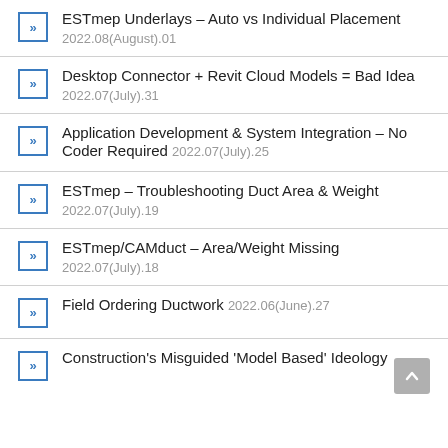ESTmep Underlays – Auto vs Individual Placement 2022.08(August).01
Desktop Connector + Revit Cloud Models = Bad Idea 2022.07(July).31
Application Development & System Integration – No Coder Required 2022.07(July).25
ESTmep – Troubleshooting Duct Area & Weight 2022.07(July).19
ESTmep/CAMduct – Area/Weight Missing 2022.07(July).18
Field Ordering Ductwork 2022.06(June).27
Construction's Misguided 'Model Based' Ideology